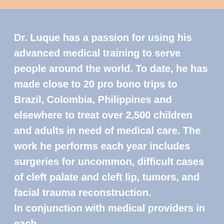Dr. Luque has a passion for using his advanced medical training to serve people around the world. To date, he has made close to 20 pro bono trips to Brazil, Colombia, Philippines and elsewhere to treat over 2,500 children and adults in need of medical care. The work he performs each year includes surgeries for uncommon, difficult cases of cleft palate and cleft lip, tumors, and facial trauma reconstruction. In conjunction with medical providers in each